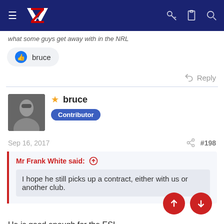NZ Warriors forum navigation bar
what some guys get away with in the NRL
👍 bruce
Reply
★ bruce
Contributor
Sep 16, 2017  #198
Mr Frank White said: ↑
I hope he still picks up a contract, either with us or another club.
He is good enough for the ESL.